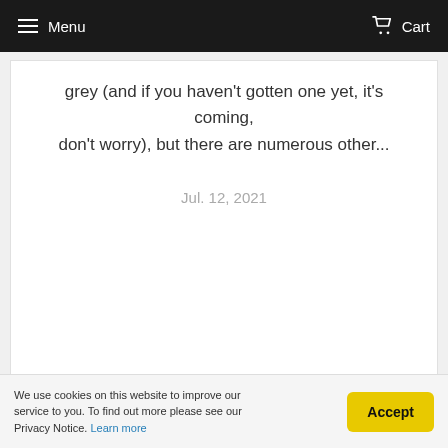Menu   Cart
grey (and if you haven't gotten one yet, it's coming, don't worry), but there are numerous other...
Jul. 12, 2021
FOLLOW DERMMATCH
We use cookies on this website to improve our service to you. To find out more please see our Privacy Notice. Learn more